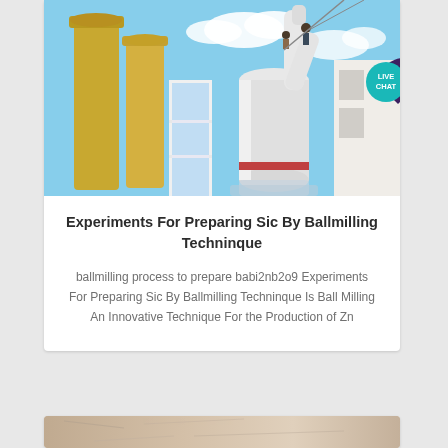[Figure (photo): Industrial ball mill installation scene with large white cylindrical grinding equipment, yellow silos/towers, and workers on site against a blue sky. A 'LIVE CHAT' speech bubble badge is overlaid in the top-right area of the image.]
Experiments For Preparing Sic By Ballmilling Techninque
ballmilling process to prepare babi2nb2o9 Experiments For Preparing Sic By Ballmilling Techninque Is Ball Milling An Innovative Technique For the Production of Zn
[Figure (photo): Partial view of a light-colored rocky or mineral surface, partially cropped at the bottom of the page.]